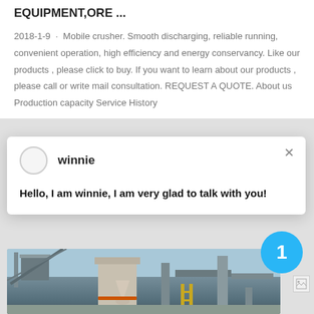EQUIPMENT,ORE ...
2018-1-9 · Mobile crusher. Smooth discharging, reliable running, convenient operation, high efficiency and energy conservancy. Like our products , please click to buy. If you want to learn about our products , please call or write mail consultation. REQUEST A QUOTE. About us Production capacity Service History
winnie
Hello, I am winnie, I am very glad to talk with you!
[Figure (photo): Industrial machinery/crusher equipment photo with steel structures and processing plant visible]